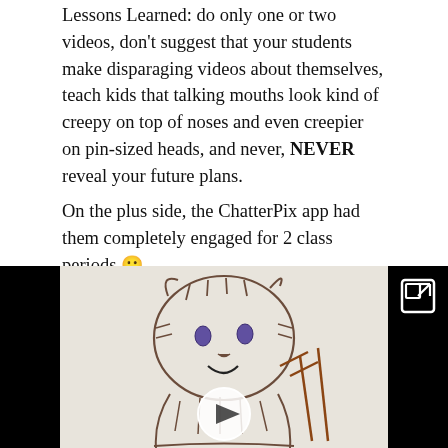Lessons Learned: do only one or two videos, don't suggest that your students make disparaging videos about themselves, teach kids that talking mouths look kind of creepy on top of noses and even creepier on pin-sized heads, and never, NEVER reveal your future plans.
On the plus side, the ChatterPix app had them completely engaged for 2 class periods 🙂
[Figure (photo): A video player showing a child's drawing of a cat-like figure with striped markings, purple eyes, and a smile, sitting in what appears to be a chair. The video has a white circular play button overlay in the center. The video has black bars on the left and right sides (letterboxed). There is an external link icon in the top-right corner of the video.]